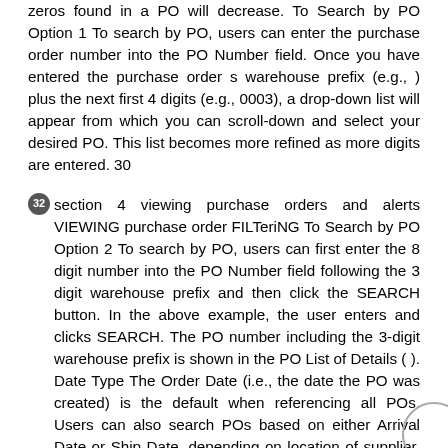zeros found in a PO will decrease. To Search by PO Option 1 To search by PO, users can enter the purchase order number into the PO Number field. Once you have entered the purchase order s warehouse prefix (e.g., ) plus the next first 4 digits (e.g., 0003), a drop-down list will appear from which you can scroll-down and select your desired PO. This list becomes more refined as more digits are entered. 30
32 section 4 viewing purchase orders and alerts VIEWING purchase order FILTeriNG To Search by PO Option 2 To search by PO, users can first enter the 8 digit number into the PO Number field following the 3 digit warehouse prefix and then click the SEARCH button. In the above example, the user enters and clicks SEARCH. The PO number including the 3-digit warehouse prefix is shown in the PO List of Details ( ). Date Type The Order Date (i.e., the date the PO was created) is the default when referencing all POs. Users can also search POs based on either Arrival Date or Ship Date, depending on location of supplier. NOTE: Besides Date Type, Canadian sourced POs can also be searched by the Arrival Date - which is the scheduled